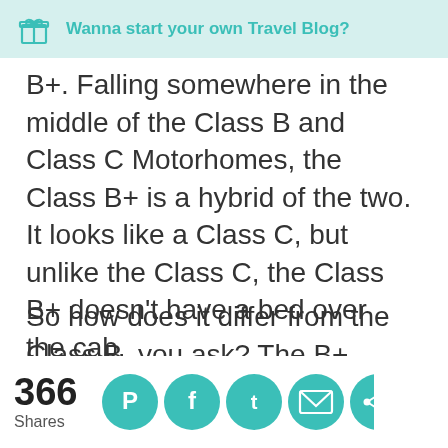Wanna start your own Travel Blog?
B+. Falling somewhere in the middle of the Class B and Class C Motorhomes, the Class B+ is a hybrid of the two. It looks like a Class C, but unlike the Class C, the Class B+ doesn’t have a bed over the cab.
So how does it differ from the Class B, you ask? The B+ version can have slide-outs. Think of the “+” as a step up from the standard Class B. If you don’t need [slide-outs/extra space]...